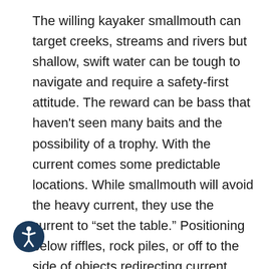The willing kayaker smallmouth can target creeks, streams and rivers but shallow, swift water can be tough to navigate and require a safety-first attitude. The reward can be bass that haven't seen many baits and the possibility of a trophy. With the current comes some predictable locations. While smallmouth will avoid the heavy current, they use the current to “set the table.” Positioning below riffles, rock piles, or off to the side of objects redirecting current where they can dart out (or up) to snatch a properly presented bait that appears to be struggling or injured. Another plus is smallmouth bass “warm up” to topwater lures before the other species. Pre-spawn
[Figure (illustration): Circular accessibility icon with dark navy background showing a white stick figure person in a universal accessibility pose]